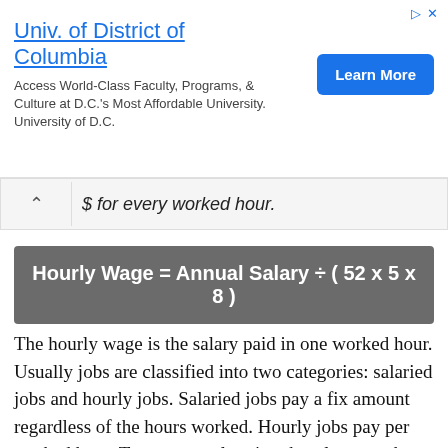[Figure (other): Advertisement banner for Univ. of District of Columbia with a Learn More button]
$ for every worked hour.
Hourly Wage = Annual Salary ÷ ( 52 x 5 x 8 )
The hourly wage is the salary paid in one worked hour. Usually jobs are classified into two categories: salaried jobs and hourly jobs. Salaried jobs pay a fix amount regardless of the hours worked. Hourly jobs pay per worked hour. To convert salary into hourly wage the above formula is used (assuming 5 working days in a week and 8 working hours per day which is the standard for most jobs). The hourly wage calculation